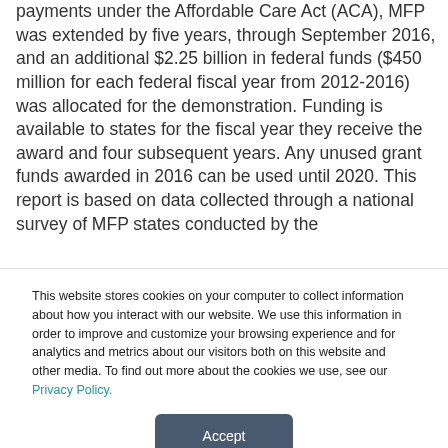payments under the Affordable Care Act (ACA), MFP was extended by five years, through September 2016, and an additional $2.25 billion in federal funds ($450 million for each federal fiscal year from 2012-2016) was allocated for the demonstration. Funding is available to states for the fiscal year they receive the award and four subsequent years. Any unused grant funds awarded in 2016 can be used until 2020. This report is based on data collected through a national survey of MFP states conducted by the
This website stores cookies on your computer to collect information about how you interact with our website. We use this information in order to improve and customize your browsing experience and for analytics and metrics about our visitors both on this website and other media. To find out more about the cookies we use, see our Privacy Policy.